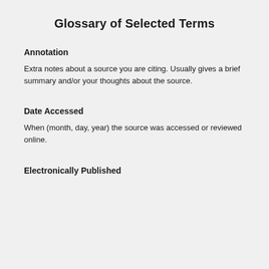Glossary of Selected Terms
Annotation
Extra notes about a source you are citing. Usually gives a brief summary and/or your thoughts about the source.
Date Accessed
When (month, day, year) the source was accessed or reviewed online.
Electronically Published